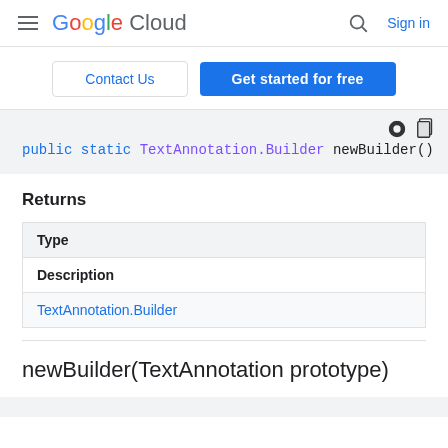Google Cloud — Sign in
Contact Us | Get started for free
public static TextAnnotation.Builder newBuilder()
Returns
| Type |
| --- |
| Description |
| TextAnnotation.Builder |
newBuilder(TextAnnotation prototype)